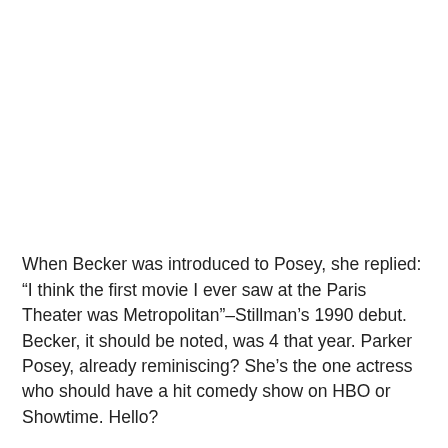When Becker was introduced to Posey, she replied: “I think the first movie I ever saw at the Paris Theater was Metropolitan”–Stillman’s 1990 debut. Becker, it should be noted, was 4 that year. Parker Posey, already reminiscing? She’s the one actress who should have a hit comedy show on HBO or Showtime. Hello?